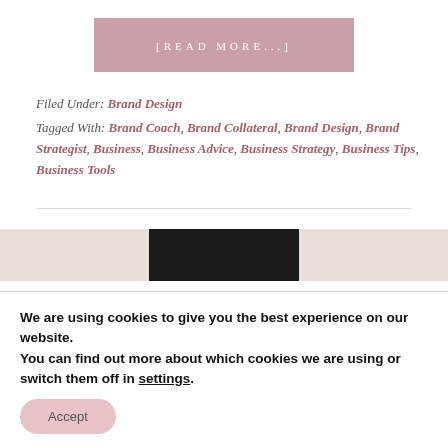[Figure (other): Pink/mauve read more button with text [READ MORE...] in uppercase spaced letters on a dusty pink background]
Filed Under: Brand Design
Tagged With: Brand Coach, Brand Collateral, Brand Design, Brand Strategist, Business, Business Advice, Business Strategy, Business Tips, Business Tools
[Figure (photo): Partial image strip visible — light marble/neutral background with a dark black rectangular band across the center]
We are using cookies to give you the best experience on our website.
You can find out more about which cookies we are using or switch them off in settings.
Accept